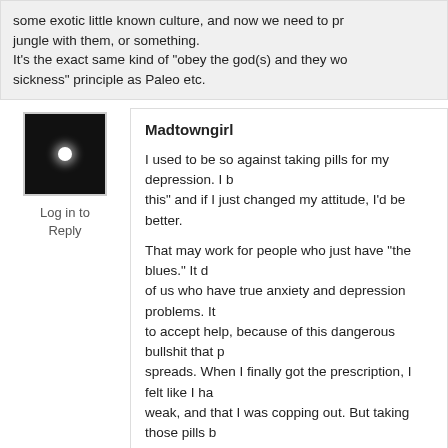some exotic little known culture, and now we need to pr... jungle with them, or something.
It's the exact same kind of "obey the god(s) and they wo... sickness" principle as Paleo etc.
Madtowngirl
Log in to Reply
I used to be so against taking pills for my depression. I b... this" and if I just changed my attitude, I'd be better.
That may work for people who just have "the blues." It d... of us who have true anxiety and depression problems. It... to accept help, because of this dangerous bullshit that p... spreads. When I finally got the prescription, I felt like I ha... weak, and that I was copping out. But taking those pills b... place where I could be myself again. Where suicide didn... way out. Where I could truly live again.
Even then, it took years before I could finally accept tha... problem – that I would always have to be mindful of my... that I was at higher risk for PPD, PPA, and depression i... than average.